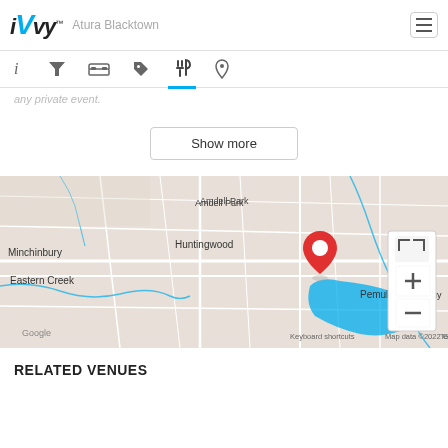iVvy - Atura Blacktown
any private event.
Show more
[Figure (map): Google Maps view showing Prospect (marked with red pin), Huntingwood, Minchinbury, Eastern Creek, Pemulwuy, Amdell Park areas near Blacktown, NSW. Map data ©2022 Google.]
RELATED VENUES